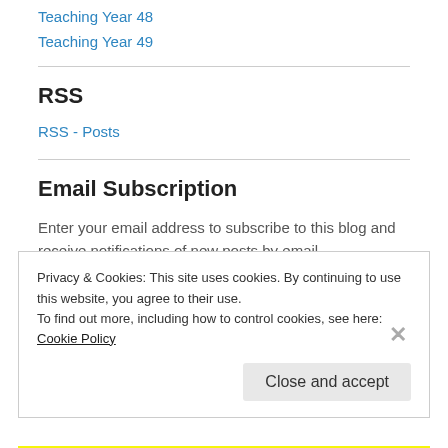Teaching Year 48
Teaching Year 49
RSS
RSS - Posts
Email Subscription
Enter your email address to subscribe to this blog and receive notifications of new posts by email.
Privacy & Cookies: This site uses cookies. By continuing to use this website, you agree to their use. To find out more, including how to control cookies, see here: Cookie Policy
Close and accept